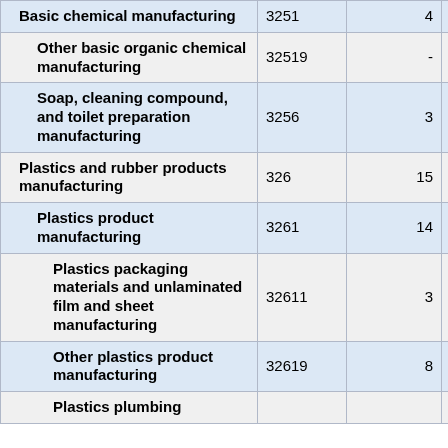| Industry | Code | Col3 | Col4 |
| --- | --- | --- | --- |
| Basic chemical manufacturing | 3251 | 4 | - |
| Other basic organic chemical manufacturing | 32519 | - | - |
| Soap, cleaning compound, and toilet preparation manufacturing | 3256 | 3 | - |
| Plastics and rubber products manufacturing | 326 | 15 | 1 |
| Plastics product manufacturing | 3261 | 14 | 1 |
| Plastics packaging materials and unlaminated film and sheet manufacturing | 32611 | 3 | - |
| Other plastics product manufacturing | 32619 | 8 | 1 |
| Plastics plumbing... |  |  |  |